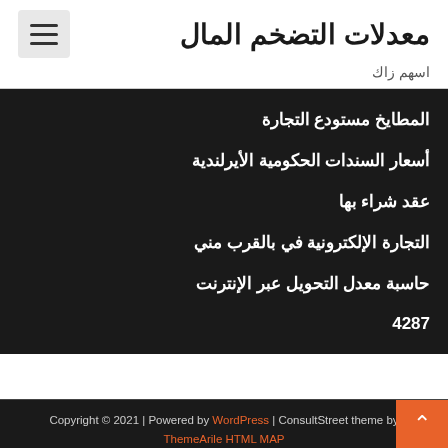معدلات التضخم المال
اسهم زاك
المطايخ مستودع التجارة
أسعار السندات الحكومية الأيرلندية
عقد شراء بها
التجارة الإلكترونية في بالقرب مني
حاسبة معدل التحويل عبر الإنترنت
4287
Copyright © 2021 | Powered by WordPress | ConsultStreet theme by ThemeArile HTML MAP